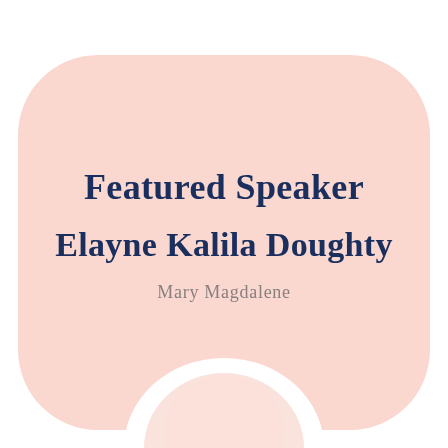[Figure (illustration): A large soft pink rounded rectangle shape with a rounded top and an arch/doorway cutout at the bottom center, creating a decorative background element on a white page.]
Featured Speaker
Elayne Kalila Doughty
Mary Magdalene